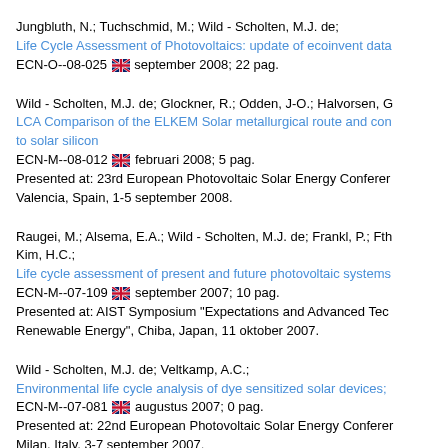Jungbluth, N.; Tuchschmid, M.; Wild - Scholten, M.J. de;
Life Cycle Assessment of Photovoltaics: update of ecoinvent data
ECN-O--08-025 [flag] september 2008; 22 pag.
Wild - Scholten, M.J. de; Glockner, R.; Odden, J-O.; Halvorsen, G
LCA Comparison of the ELKEM Solar metallurgical route and con to solar silicon
ECN-M--08-012 [flag] februari 2008; 5 pag.
Presented at: 23rd European Photovoltaic Solar Energy Conferer Valencia, Spain, 1-5 september 2008.
Raugei, M.; Alsema, E.A.; Wild - Scholten, M.J. de; Frankl, P.; Fth Kim, H.C.;
Life cycle assessment of present and future photovoltaic systems
ECN-M--07-109 [flag] september 2007; 10 pag.
Presented at: AIST Symposium "Expectations and Advanced Tec Renewable Energy", Chiba, Japan, 11 oktober 2007.
Wild - Scholten, M.J. de; Veltkamp, A.C.;
Environmental life cycle analysis of dye sensitized solar devices;
ECN-M--07-081 [flag] augustus 2007; 0 pag.
Presented at: 22nd European Photovoltaic Solar Energy Conferer Milan, Italy, 3-7 september 2007.